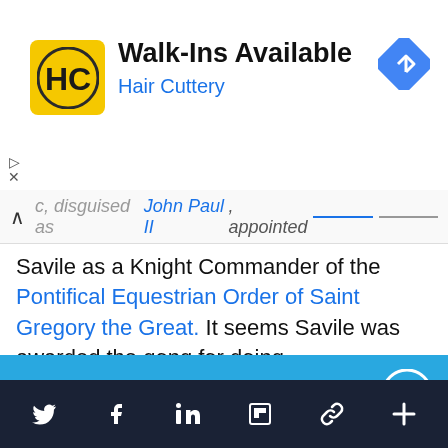[Figure (screenshot): Hair Cuttery advertisement banner with yellow HC logo, text 'Walk-Ins Available' and 'Hair Cuttery', and a blue navigation arrow icon]
c, disguised as John Paul II, appointed Savile as a Knight Commander of the Pontifical Equestrian Order of Saint Gregory the Great. It seems Savile was awarded the gong for doing
Support IA
Subscribe to IA and investigate Australia today.
Close  Subscribe  Donate
Twitter  Facebook  LinkedIn  Flipboard  Link  Plus